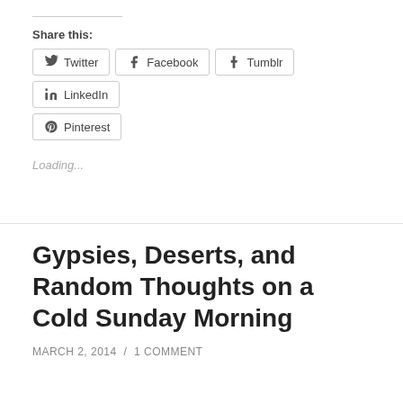Share this:
Twitter
Facebook
Tumblr
LinkedIn
Pinterest
Loading...
Gypsies, Deserts, and Random Thoughts on a Cold Sunday Morning
MARCH 2, 2014 / 1 COMMENT